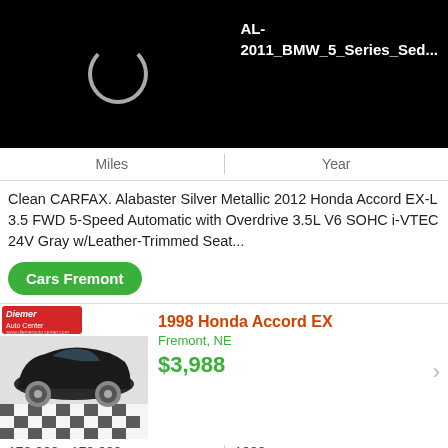[Figure (photo): Black screen with loading spinner circle on left and text label 'AL-2011_BMW_5_Series_Sed...' in white on right]
Miles   |   Year
Clean CARFAX. Alabaster Silver Metallic 2012 Honda Accord EX-L 3.5 FWD 5-Speed Automatic with Overdrive 3.5L V6 SOHC i-VTEC 24V Gray w/Leather-Trimmed Seat...
Cars Fremont
[Figure (photo): 1998 Honda Accord EX car photo at Diemer Auto Center with checkerboard floor]
1998 Honda Accord EX
Fremont, NE
$3,988
170 000 - 179 999
Miles   |   1998
Year
Options Included: Alloy Wheels, Sun Roof, CD, Power Locks, Tilt Wheel, AM/FM, Power Mirrors, Leather Seats, Power Seats, Air Conditioning, Driver Airbag,...
Cars Fremont